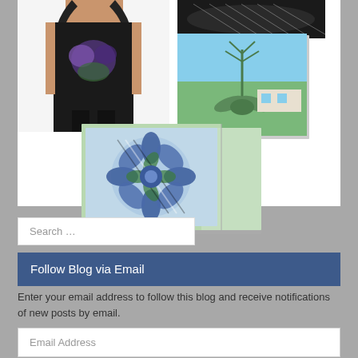[Figure (photo): Collage of merchandise products: a black tank top with purple/green floral design on left, a black and white textured image top right, a greeting card with agave plant and green landscape in upper right, and a greeting card with blue floral mandala pattern at bottom center]
Search …
Follow Blog via Email
Enter your email address to follow this blog and receive notifications of new posts by email.
Email Address